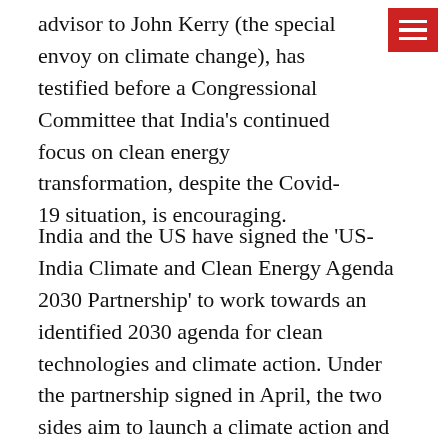advisor to John Kerry (the special envoy on climate change), has testified before a Congressional Committee that India's continued focus on clean energy transformation, despite the Covid-19 situation, is encouraging.
India and the US have signed the 'US-India Climate and Clean Energy Agenda 2030 Partnership' to work towards an identified 2030 agenda for clean technologies and climate action. Under the partnership signed in April, the two sides aim to launch a climate action and finance a mobilisation drive and relaunch the strategic clean energy